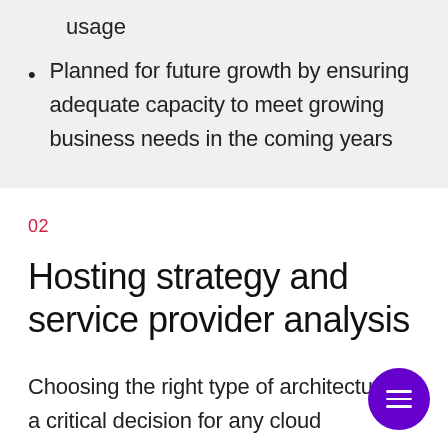usage
Planned for future growth by ensuring adequate capacity to meet growing business needs in the coming years
02
Hosting strategy and service provider analysis
Choosing the right type of architecture is a critical decision for any cloud